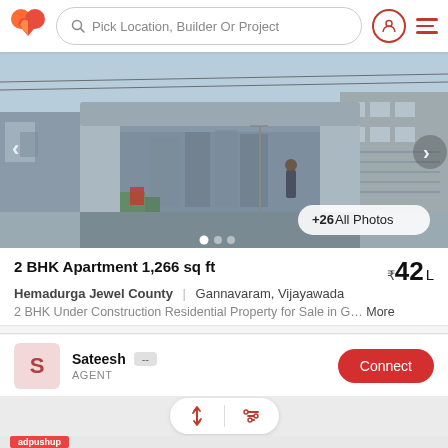Pick Location, Builder Or Project
[Figure (photo): Property gate/entrance photo of Hemadurga Jewel County apartment complex with +26 All Photos button]
2 BHK Apartment 1,266 sq ft ₹42 L
Hemadurga Jewel County | Gannavaram, Vijayawada
2 BHK Under Construction Residential Property for Sale in G... More
Sateesh -- AGENT Connect
[Figure (screenshot): adpushup ad strip with partial property image below]